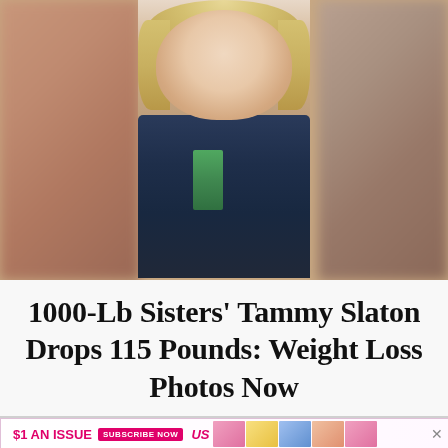[Figure (photo): A woman with blonde curly hair, heavy-set, wearing a dark navy jacket over a green top, taking a selfie. The center photo is framed with blurred versions of the same image on left and right sides.]
1000-Lb Sisters' Tammy Slaton Drops 115 Pounds: Weight Loss Photos Now
[Figure (infographic): Advertisement banner reading '$1 AN ISSUE' with 'SUBSCRIBE NOW' button and Us Weekly magazine covers]